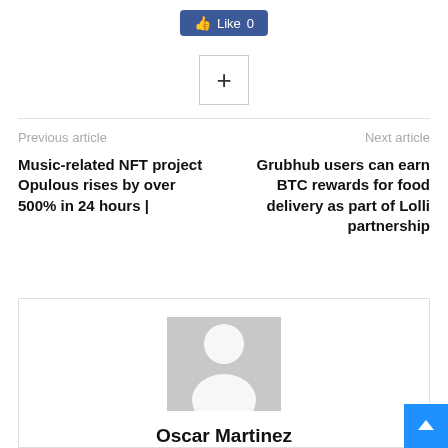[Figure (other): Facebook Like button showing 'Like 0' in blue]
[Figure (other): Plus (+) button in a square border]
Previous article
Next article
Music-related NFT project Opulous rises by over 500% in 24 hours |
Grubhub users can earn BTC rewards for food delivery as part of Lolli partnership
[Figure (photo): Gray placeholder avatar silhouette image for author Oscar Martinez]
Oscar Martinez